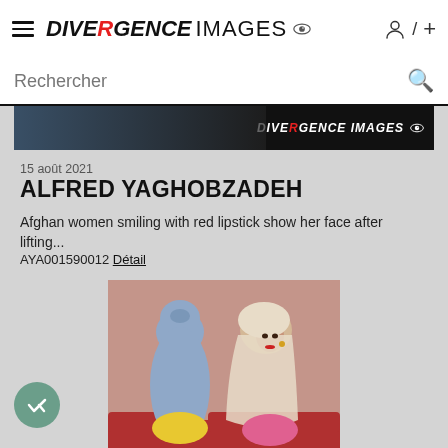[Figure (screenshot): Screenshot of Divergence Images website showing navigation bar with hamburger menu, logo, and user icons]
Rechercher
[Figure (photo): Dark banner strip with Divergence Images logo in white]
15 août 2021
ALFRED YAGHOBZADEH
Afghan women smiling with red lipstick show her face after lifting...
AYA001590012 Détail
[Figure (photo): Two Afghan women, one wearing a full blue burqa and one wearing a cream head scarf with red lipstick, standing against a pink/mauve wall with a red couch visible]